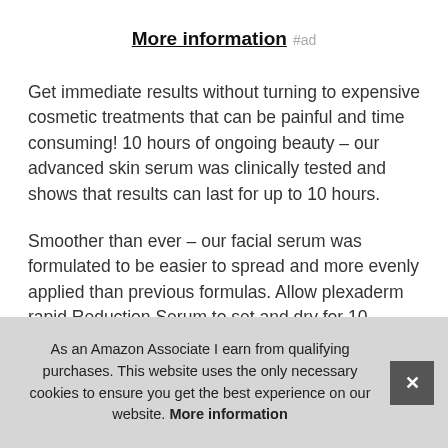More information #ad
Get immediate results without turning to expensive cosmetic treatments that can be painful and time consuming! 10 hours of ongoing beauty – our advanced skin serum was clinically tested and shows that results can last for up to 10 hours.
Smoother than ever – our facial serum was formulated to be easier to spread and more evenly applied than previous formulas. Allow plexaderm rapid Reduction Serum to set and dry for 10 minutes after application. Apply to clean and dry skin. At home instant face lift – our clinically tested anti wrin... min... smo... with...
As an Amazon Associate I earn from qualifying purchases. This website uses the only necessary cookies to ensure you get the best experience on our website. More information